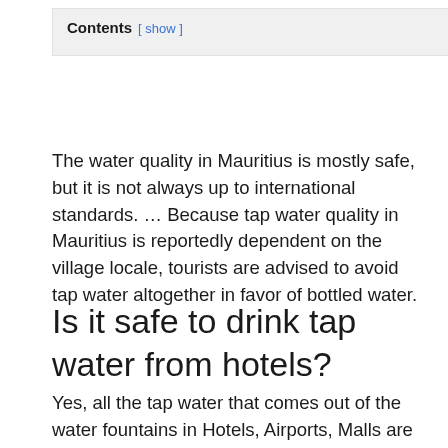Contents [ show ]
The water quality in Mauritius is mostly safe, but it is not always up to international standards. … Because tap water quality in Mauritius is reportedly dependent on the village locale, tourists are advised to avoid tap water altogether in favor of bottled water.
Is it safe to drink tap water from hotels?
Yes, all the tap water that comes out of the water fountains in Hotels, Airports, Malls are safe to drink. It also includes tap water in